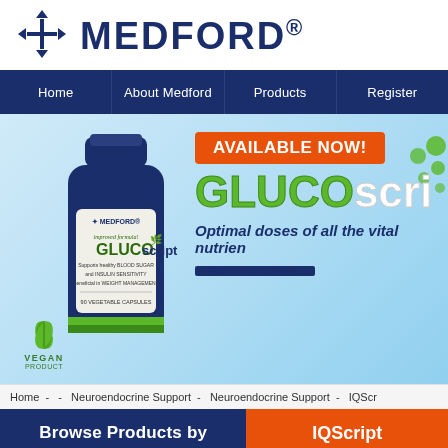[Figure (logo): MEDFORD logo with crosshair/compass icon in dark navy blue, followed by MEDFORD® text in large bold navy lettering]
[Figure (infographic): Navigation bar with dark navy background containing four links: Home, About Medford, Products, Register]
[Figure (photo): Product banner showing a dark navy bottle of GLUCOscript supplement with label reading 'improved formula! GLUCOscript, Supports healthy BLOOD SUGAR and INSULIN SENSITIVITY, Beneficial in WEIGHT MANAGEMENT, 90 VEGETABLE CAPSULES', a Vegan Product badge in green, an orange banner reading AVAILABLE NOW!, large green and white GLUCOscr text, and navy italic text reading Optimal doses of all the vital nutrien]
Home - - Neuroendocrine Support - Neuroendocrine Support - IQScr
Browse Products by
IQScript